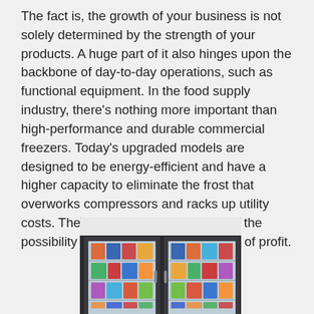The fact is, the growth of your business is not solely determined by the strength of your products. A huge part of it also hinges upon the backbone of day-to-day operations, such as functional equipment. In the food supply industry, there's nothing more important than high-performance and durable commercial freezers. Today's upgraded models are designed to be energy-efficient and have a higher capacity to eliminate the frost that overworks compressors and racks up utility costs. The resulting efficiency reduces the possibility of product damage and loss of profit.
[Figure (photo): A commercial glass-door freezer/refrigerator unit with two glass doors showing shelves stocked with frozen food products, dark frame, white top panel.]